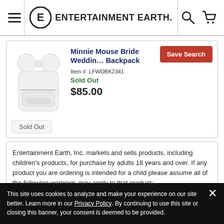Entertainment Earth navigation header with menu, logo, search, and cart icons
[Figure (photo): White Minnie Mouse Bride Wedding Backpack product photo with white bow ears on top]
Minnie Mouse Bride Wedding Backpack
Item #: LFWDBK2341
Sold Out
$85.00
Save Search
Sold Out
Entertainment Earth, Inc. markets and sells products, including children's products, for purchase by adults 18 years and over. If any product you are ordering is intended for a child please assume all of the following warnings may apply to that product:
This site uses cookies to analyze and make your experience on our site better. Learn more in our Privacy Policy. By continuing to use this site or closing this banner, your consent is deemed to be provided.